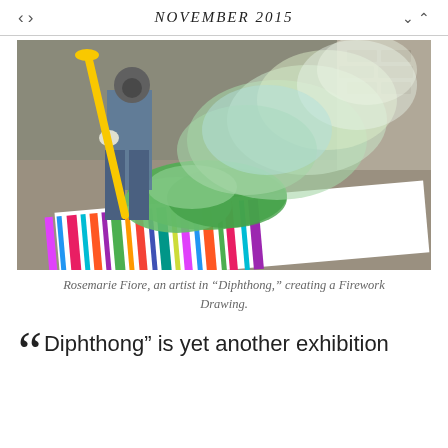NOVEMBER 2015
[Figure (photo): Rosemarie Fiore wearing a gas mask and gloves, using a long yellow-handled tool to ignite a green smoke firework on a large colorful striped canvas laid flat on the ground outdoors.]
Rosemarie Fiore, an artist in “Diphthong,” creating a Firework Drawing.
“Diphthong” is yet another exhibition